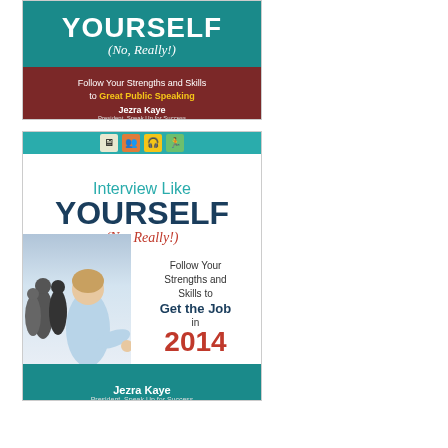[Figure (illustration): Top book cover thumbnail: 'Speak Like Yourself (No, Really!) Follow Your Strengths and Skills to Great Public Speaking' by Jezra Kaye. Teal top section with large white YOURSELF text and italic (No, Really!), dark red/brown bottom with subtitle and author name.]
[Figure (illustration): Bottom book cover: 'Interview Like YOURSELF (No, Really!) Follow Your Strengths and Skills to Get the Job in 2014' by Jezra Kaye, President, Speak Up for Success. White background with teal icon bar at top, teal 'Interview Like' text, large dark blue YOURSELF, italic red (No, Really!), photo of professional woman extending hand with group behind her, teal footer with author name.]